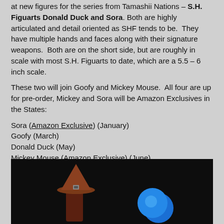at new figures for the series from Tamashii Nations – S.H. Figuarts Donald Duck and Sora. Both are highly articulated and detail oriented as SHF tends to be. They have multiple hands and faces along with their signature weapons. Both are on the short side, but are roughly in scale with most S.H. Figuarts to date, which are a 5.5 – 6 inch scale.
These two will join Goofy and Mickey Mouse. All four are up for pre-order, Mickey and Sora will be Amazon Exclusives in the States:
Sora (Amazon Exclusive) (January)
Goofy (March)
Donald Duck (May)
Mickey Mouse (Amazon Exclusive) (June)
Read on to check out our in-hand shots for Sora and Donald Duck!
Key shots here, full set below!
[Figure (photo): Dark background photo showing two figures: one with a brown pilgrim/witch hat on the left, and a blue-colored character/orb on the right.]